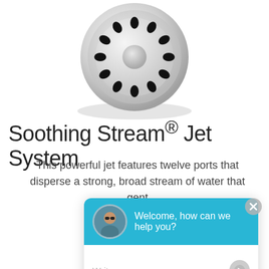[Figure (photo): Close-up product photo of a circular jet nozzle with chrome/silver finish, featuring twelve ports arranged in a ring pattern, viewed from a slight angle on a white background.]
Soothing Stream® Jet System
This powerful jet features twelve ports that disperse a strong, broad stream of water that gent
[Figure (screenshot): Live chat widget overlay with a teal/blue header showing a man's avatar photo and the text 'Welcome, how can we help you?' with a white body containing 'Write your message...' placeholder text and a send button. There is also a close (X) button in grey.]